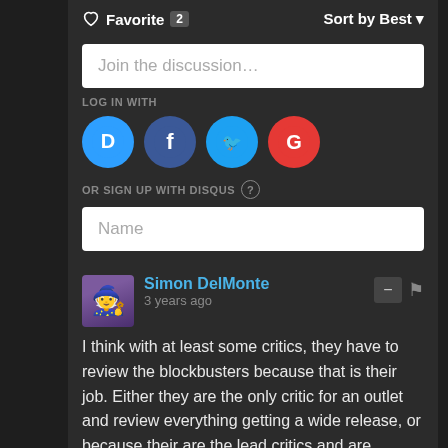♡ Favorite 2   Sort by Best ▾
Join the discussion…
LOG IN WITH
[Figure (infographic): Four social login icons: Disqus (blue circle with D), Facebook (dark blue circle with f), Twitter (light blue circle with bird), Google (red circle with G)]
OR SIGN UP WITH DISQUS ?
Name
Simon DelMonte
3 years ago
I think with at least some critics, they have to review the blockbusters because that is their job. Either they are the only critic for an outlet and review everything getting a wide release, or because their are the lead critics and are likeliest to get the highest click rate. (I suspect that AO Scott writing so much about Endgame was more because the Times wanted his